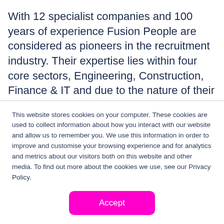With 12 specialist companies and 100 years of experience Fusion People are considered as pioneers in the recruitment industry. Their expertise lies within four core sectors, Engineering, Construction, Finance & IT and due to the nature of their business they have to deal with a dual target audience: candidates (people who are looking for work) and clients (direct employers who are looking for skilled
This website stores cookies on your computer. These cookies are used to collect information about how you interact with our website and allow us to remember you. We use this information in order to improve and customise your browsing experience and for analytics and metrics about our visitors both on this website and other media. To find out more about the cookies we use, see our Privacy Policy.